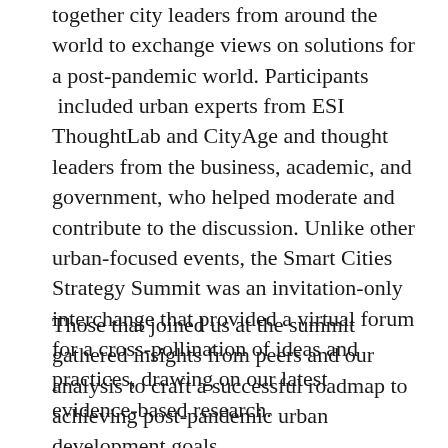together city leaders from around the world to exchange views on solutions for a post-pandemic world. Participants  included urban experts from ESI ThoughtLab and CityAge and thought leaders from the business, academic, and government, who helped moderate and contribute to the discussion. Unlike other urban-focused events, the Smart Cities Strategy Summit was an invitation-only interchange that provided a virtual forum for a cross-pollination of ideas and practices, drawing on our latest evidence-based research.
Those that joined us at the summit gathered insights from peers and our analysis to craft a successful roadmap to achieving post-pandemic urban development goals.